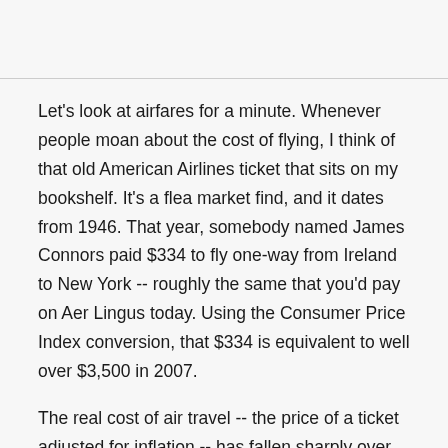Let's look at airfares for a minute. Whenever people moan about the cost of flying, I think of that old American Airlines ticket that sits on my bookshelf. It's a flea market find, and it dates from 1946. That year, somebody named James Connors paid $334 to fly one-way from Ireland to New York -- roughly the same that you'd pay on Aer Lingus today. Using the Consumer Price Index conversion, that $334 is equivalent to well over $3,500 in 2007.
The real cost of air travel -- the price of a ticket adjusted for inflation -- has fallen sharply over the past